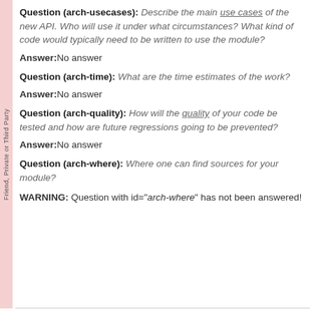Question (arch-usecases): Describe the main use cases of the new API. Who will use it under what circumstances? What kind of code would typically need to be written to use the module?
Answer: No answer
Question (arch-time): What are the time estimates of the work?
Answer: No answer
Question (arch-quality): How will the quality of your code be tested and how are future regressions going to be prevented?
Answer: No answer
Question (arch-where): Where one can find sources for your module?
WARNING: Question with id="arch-where" has not been answered!